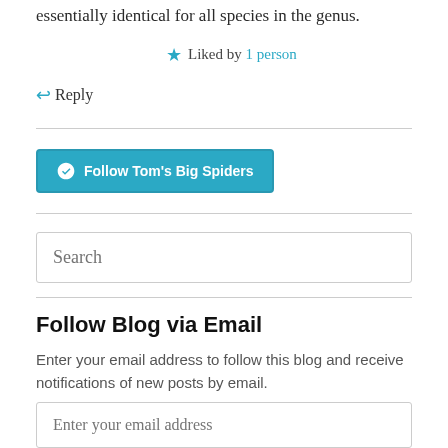essentially identical for all species in the genus.
★ Liked by 1 person
↪ Reply
[Figure (other): WordPress Follow button: 'Follow Tom's Big Spiders']
Search
Follow Blog via Email
Enter your email address to follow this blog and receive notifications of new posts by email.
Enter your email address